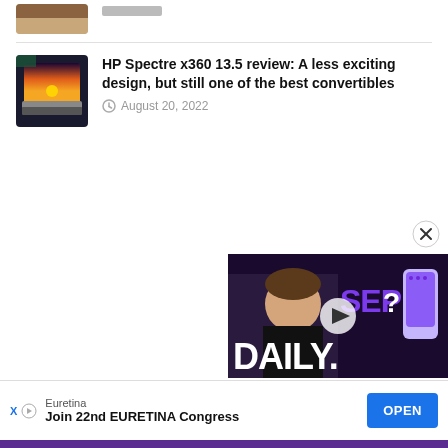[Figure (photo): Thumbnail image of a laptop/convertible device (partially visible at top)]
[Figure (photo): Thumbnail image of HP Spectre x360 13.5 laptop in tent mode showing a sunset/sunrise display]
HP Spectre x360 13.5 review: A less exciting design, but still one of the best convertibles
August 20, 2022
[Figure (screenshot): Video overlay thumbnail showing a person with text SEP?? and DAILY with a purple iPhone 14 Pro]
Euretina
Join 22nd EURETINA Congress
OPEN